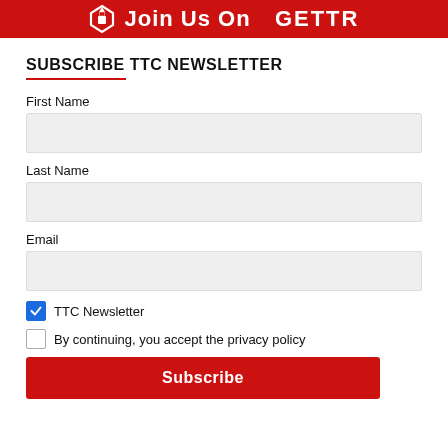[Figure (illustration): Red banner with GETTR logo and text 'Join Us On GETTR' in white bold letters on red background]
SUBSCRIBE TTC NEWSLETTER
First Name
Last Name
Email
TTC Newsletter (checked checkbox)
By continuing, you accept the privacy policy (unchecked checkbox)
Subscribe